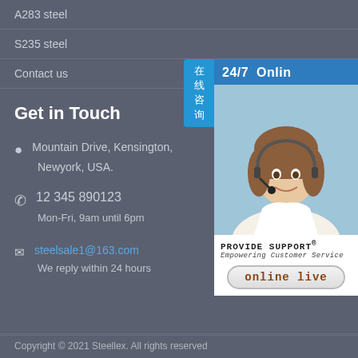A283 steel
S235 steel
Contact us
Get in Touch
Mountain Drive, Kensington, Newyork, USA.
12 345 890123
Mon-Fri, 9am until 6pm
steelsale1@163.com
We reply within 24 hours
[Figure (infographic): 24/7 Online live chat widget with customer service representative photo, 'PROVIDE SUPPORT Empowering Customer Service' branding, and 'online live' button. Also shows Chinese text tab '在线咨询' (online consultation).]
Copyright © 2021 Steellex. All rights reserved